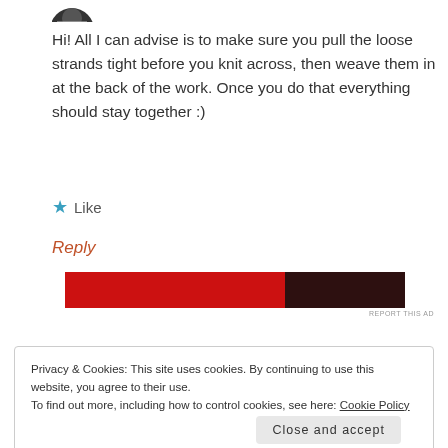[Figure (illustration): Partial user avatar icon at top left]
Hi! All I can advise is to make sure you pull the loose strands tight before you knit across, then weave them in at the back of the work. Once you do that everything should stay together :)
★ Like
Reply
[Figure (screenshot): Advertisement banner - dark red/black background]
REPORT THIS AD
Privacy & Cookies: This site uses cookies. By continuing to use this website, you agree to their use. To find out more, including how to control cookies, see here: Cookie Policy
Close and accept